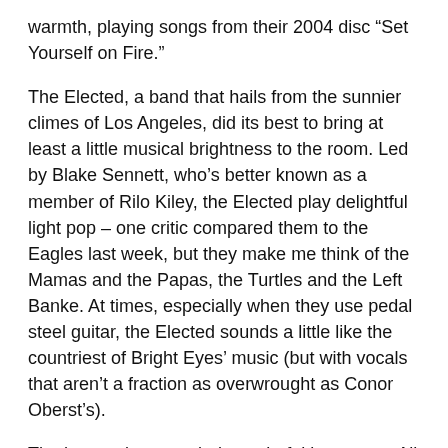warmth, playing songs from their 2004 disc “Set Yourself on Fire.”
The Elected, a band that hails from the sunnier climes of Los Angeles, did its best to bring at least a little musical brightness to the room. Led by Blake Sennett, who’s better known as a member of Rilo Kiley, the Elected play delightful light pop – one critic compared them to the Eagles last week, but they make me think of the Mamas and the Papas, the Turtles and the Left Banke. At times, especially when they use pedal steel guitar, the Elected sounds a little like the countriest of Bright Eyes’ music (but with vocals that aren’t a fraction as overwrought as Conor Oberst’s).
The harmonies sounded wonderful in concert. All of that lovely, lilting music might have left some audience members hoping for a little more rock, and for its final song the Elected delivered “Make Up There” above all...